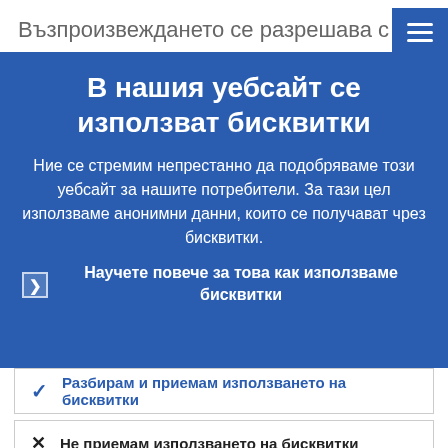Възпроизвеждането се разрешава с
В нашия уебсайт се използват бисквитки
Ние се стремим непрестанно да подобряваме този уебсайт за нашите потребители. За тази цел използваме анонимни данни, които се получават чрез бисквитки.
Научете повече за това как използваме бисквитки
Разбирам и приемам използването на бисквитки
Не приемам използването на бисквитки